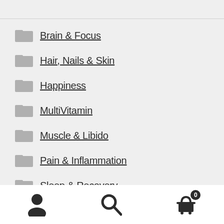Brain & Focus
Hair, Nails & Skin
Happiness
MultiVitamin
Muscle & Libido
Pain & Inflammation
Sleep & Recovery
Weight Loss & Energy
User icon | Search icon | Cart 0